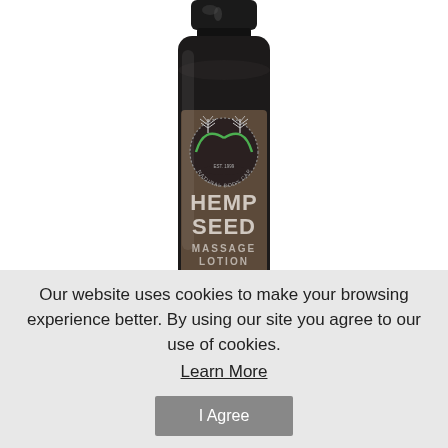[Figure (photo): A dark brown/black bottle of Hemp Seed Massage Lotion by Earthly Body Natural Body Care, shown from the front with a brown label. The label features a circular logo with hemp leaf illustrations and text reading HEMP SEED MASSAGE LOTION.]
Our website uses cookies to make your browsing experience better. By using our site you agree to our use of cookies.
Learn More
I Agree